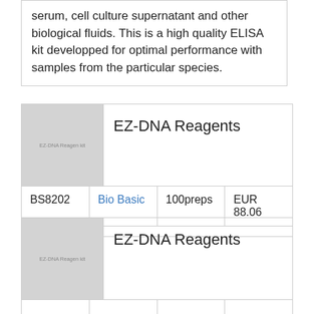serum, cell culture supernatant and other biological fluids. This is a high quality ELISA kit developped for optimal performance with samples from the particular species.
| Image | Product Name | Catalog | Supplier | Size | Price |
| --- | --- | --- | --- | --- | --- |
| EZ-DNA Reagents image | EZ-DNA Reagents | BS8202 | Bio Basic | 100preps | EUR 88.06 |
| Image | Product Name |
| --- | --- |
| EZ-DNA Reagents image | EZ-DNA Reagents |